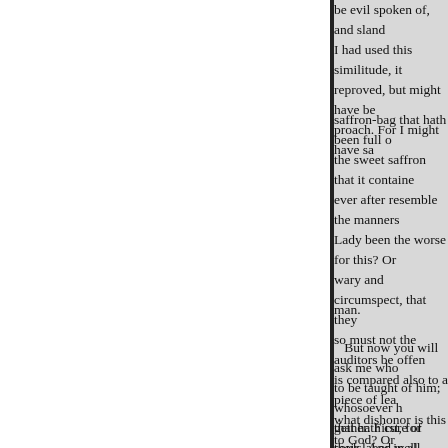be evil spoken of, and sland I had used this similitude, it reproved, but might have be proach. For I might have sa
saffron-bag that hath been full o the sweet saffron that it containe ever after resemble the manners Lady been the worse for this? O wary and circumspect, that they so must not the auditors be offen is compared also to a piece of lea what dishonor is this to God? O my similitude, for because I like
man.
But now you will ask me who to be taught of him; whosoever h that hath cure of souls. And well
gether. First, for their labor in all ploughman hath not some speci